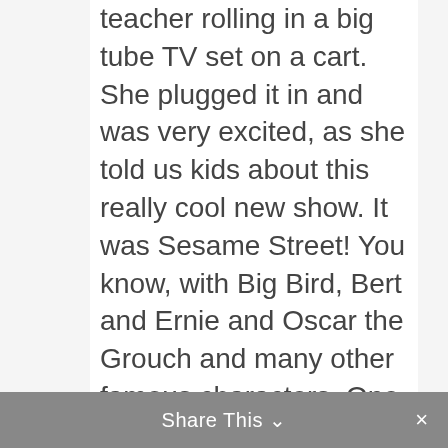teacher rolling in a big tube TV set on a cart. She plugged it in and was very excited, as she told us kids about this really cool new show. It was Sesame Street! You know, with Big Bird, Bert and Ernie and Oscar the Grouch and many other famous characters. One of the skits we always looked forward to was “Which One of These is NOT Like the Other?” It taught us to recognize how things are different even if they are mostly the
Share This ⌄  ×